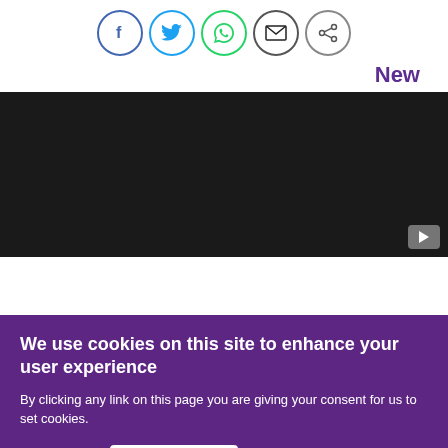[Figure (infographic): Social sharing icons: Facebook (blue circle), Twitter (blue circle), WhatsApp (green circle), Email (grey circle), Share (grey circle)]
New
[Figure (screenshot): Dark/black video player area with a YouTube play button icon in the bottom right corner]
We use cookies on this site to enhance your user experience
By clicking any link on this page you are giving your consent for us to set cookies.
Non, merci.
OK, I agree